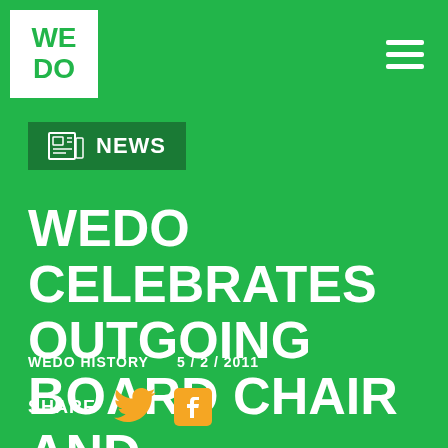WE DO
NEWS
WEDO CELEBRATES OUTGOING BOARD CHAIR AND WELCOMES NEW BOARD CHAIR
WEDO HISTORY   5 / 2 / 2011
SHARE